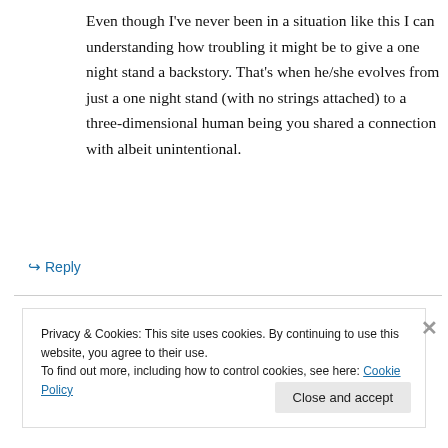Even though I've never been in a situation like this I can understanding how troubling it might be to give a one night stand a backstory. That's when he/she evolves from just a one night stand (with no strings attached) to a three-dimensional human being you shared a connection with albeit unintentional.
↵ Reply
Privacy & Cookies: This site uses cookies. By continuing to use this website, you agree to their use.
To find out more, including how to control cookies, see here: Cookie Policy
Close and accept